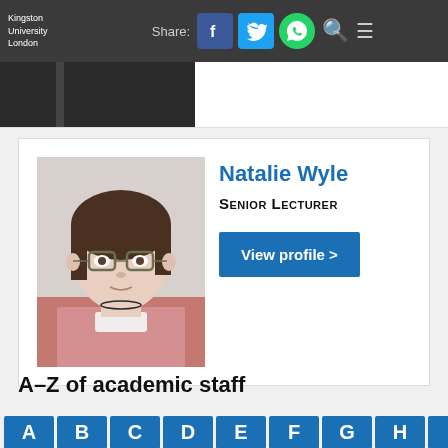Kingston University London | Share:
[Figure (photo): Profile photo of Natalie Wyle, a woman with short brown hair and glasses, wearing a pink top]
Natalie Wyle
Senior Lecturer
View profile >
A–Z of academic staff
A B C D E F G H I